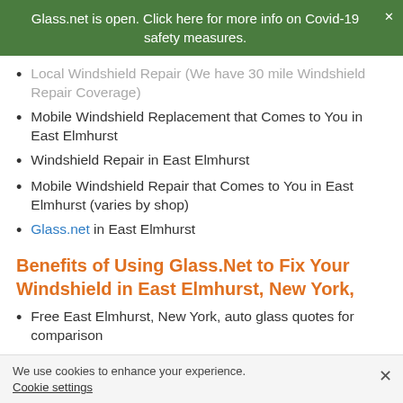Glass.net is open. Click here for more info on Covid-19 safety measures.
Local Windshield Repair (We have 30 mile Windshield Repair Coverage)
Mobile Windshield Replacement that Comes to You in East Elmhurst
Windshield Repair in East Elmhurst
Mobile Windshield Repair that Comes to You in East Elmhurst (varies by shop)
Glass.net in East Elmhurst
Benefits of Using Glass.Net to Fix Your Windshield in East Elmhurst, New York,
Free East Elmhurst, New York, auto glass quotes for comparison
We use cookies to enhance your experience.
Cookie settings